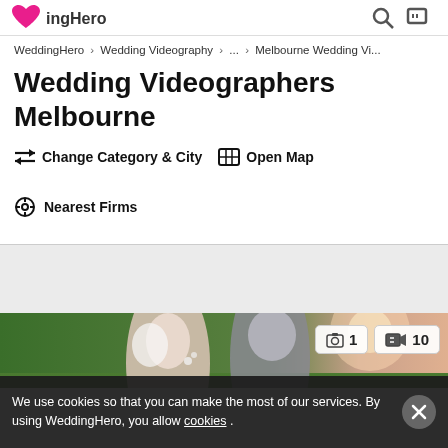WeddingHero
WeddingHero > Wedding Videography > ... > Melbourne Wedding Vi...
Wedding Videographers Melbourne
⇄ Change Category & City   ⊞ Open Map
⊕ Nearest Firms
[Figure (photo): Wedding couple photo with image and video count badges showing 1 photo and 10 videos]
We use cookies so that you can make the most of our services. By using WeddingHero, you allow cookies .